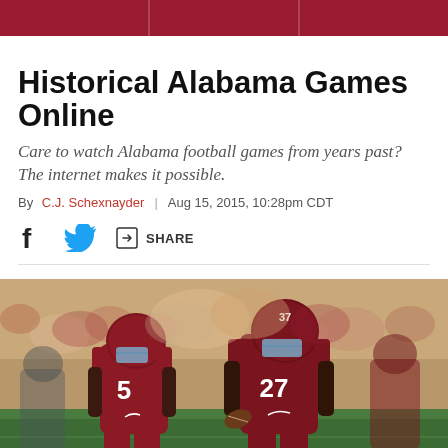Historical Alabama Games Online
Care to watch Alabama football games from years past? The internet makes it possible.
By C.J. Schexnayder | Aug 15, 2015, 10:28pm CDT
SHARE
[Figure (photo): Two Alabama Crimson Tide football players in red jerseys running on field — player #5 and player #37 carrying the ball — with blurred crowd in background]